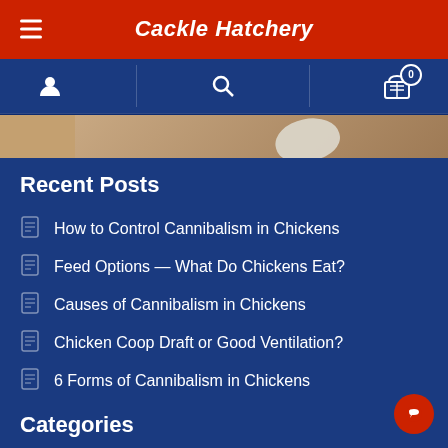Cackle Hatchery
[Figure (screenshot): Partial image of wooden surface with an egg visible]
Recent Posts
How to Control Cannibalism in Chickens
Feed Options — What Do Chickens Eat?
Causes of Cannibalism in Chickens
Chicken Coop Draft or Good Ventilation?
6 Forms of Cannibalism in Chickens
Categories